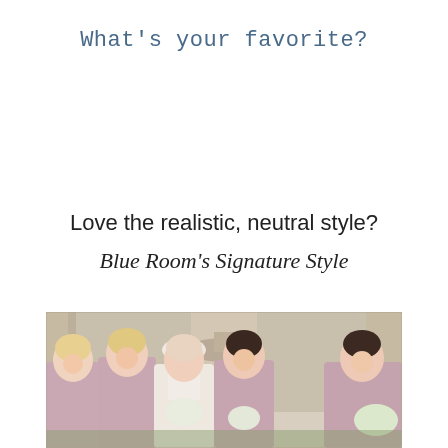What's your favorite?
Love the realistic, neutral style?
Blue Room's Signature Style
[Figure (photo): Wedding party photo showing a bride in white with veil and four bridesmaids in dusty pink/mauve dresses, standing outdoors in front of a stone fountain and columns. The women are smiling and walking together. The bridesmaids carry white floral bouquets.]